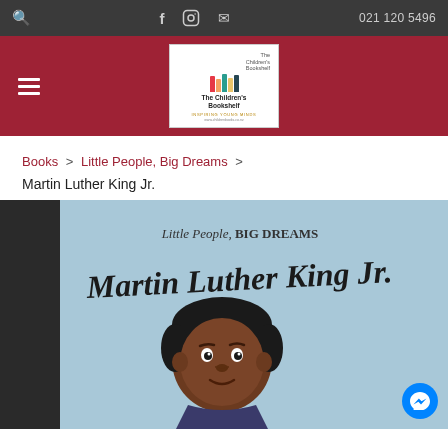021 120 5496
[Figure (logo): The Children's Bookshelf logo with colorful book spines, tagline 'Inspiring Young Minds']
Books > Little People, Big Dreams > Martin Luther King Jr.
[Figure (photo): Book cover of 'Little People, BIG DREAMS: Martin Luther King Jr.' showing illustrated young Martin Luther King Jr. on light blue background with script title text]